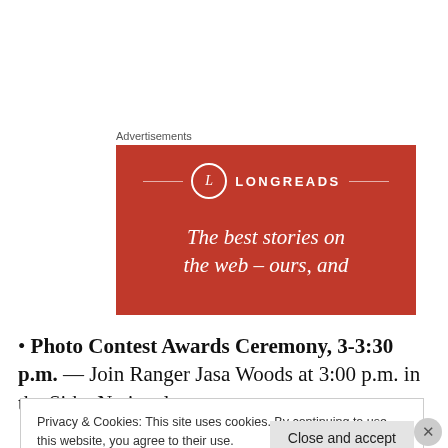Advertisements
[Figure (logo): Longreads advertisement banner: red background with Longreads logo (circle with L) and text 'The best stories on the web – ours, and']
Photo Contest Awards Ceremony, 3-3:30 p.m. — Join Ranger Jasa Woods at 3:00 p.m. in the Sitka National
Privacy & Cookies: This site uses cookies. By continuing to use this website, you agree to their use.
To find out more, including how to control cookies, see here: Cookie Policy
Close and accept